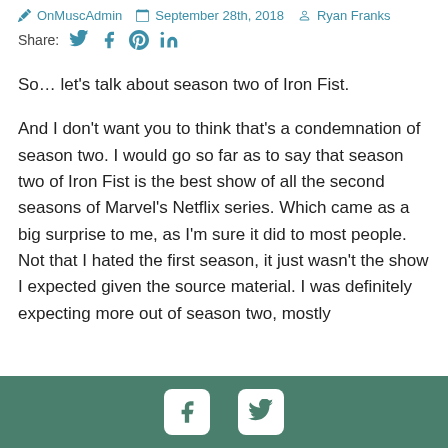OnMuscAdmin  September 28th, 2018  Ryan Franks
Share:
So… let's talk about season two of Iron Fist.

And I don't want you to think that's a condemnation of season two. I would go so far as to say that season two of Iron Fist is the best show of all the second seasons of Marvel's Netflix series. Which came as a big surprise to me, as I'm sure it did to most people. Not that I hated the first season, it just wasn't the show I expected given the source material. I was definitely expecting more out of season two, mostly
Facebook and Twitter social icons